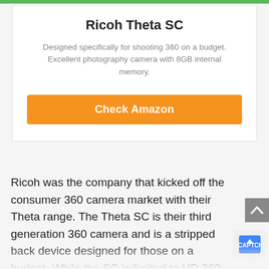Ricoh Theta SC
Designed specifically for shooting 360 on a budget. Excellent photography camera with 8GB internal memory.
Check Amazon
Ricoh was the company that kicked off the consumer 360 camera market with their Theta range. The Theta SC is their third generation 360 camera and is a stripped back device designed for those on a budget. While the SC is limited to HD 360 video, it still utilizes